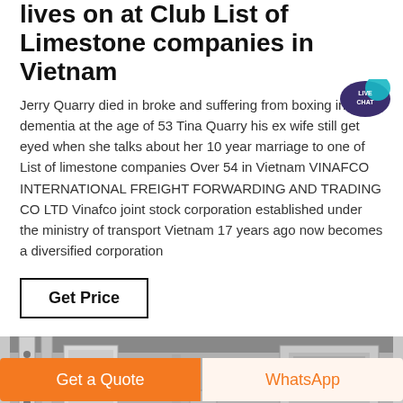lives on at Club List of Limestone companies in Vietnam
Jerry Quarry died in broke and suffering from boxing induced dementia at the age of 53 Tina Quarry his ex wife still get eyed when she talks about her 10 year marriage to one of List of limestone companies Over 54 in Vietnam VINAFCO INTERNATIONAL FREIGHT FORWARDING AND TRADING CO LTD Vinafco joint stock corporation established under the ministry of transport Vietnam 17 years ago now becomes a diversified corporation
[Figure (other): Button with border labeled Get Price]
[Figure (photo): Industrial machinery photo showing metal frames and equipment with a person visible at the bottom right]
[Figure (other): Live chat bubble icon in teal/purple]
Get a Quote  WhatsApp